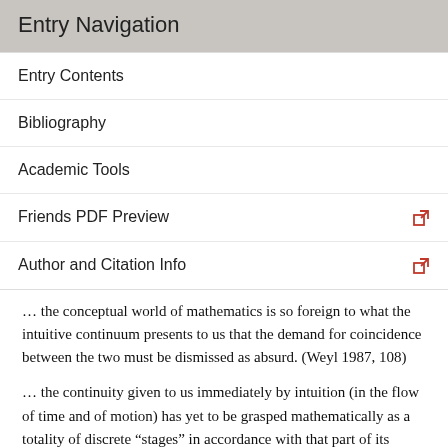Entry Navigation
Entry Contents
Bibliography
Academic Tools
Friends PDF Preview
Author and Citation Info
… the conceptual world of mathematics is so foreign to what the intuitive continuum presents to us that the demand for coincidence between the two must be dismissed as absurd. (Weyl 1987, 108)
… the continuity given to us immediately by intuition (in the flow of time and of motion) has yet to be grasped mathematically as a totality of discrete “stages” in accordance with that part of its content which can be conceptualized in an exact way. (Ibid., 24)[14]